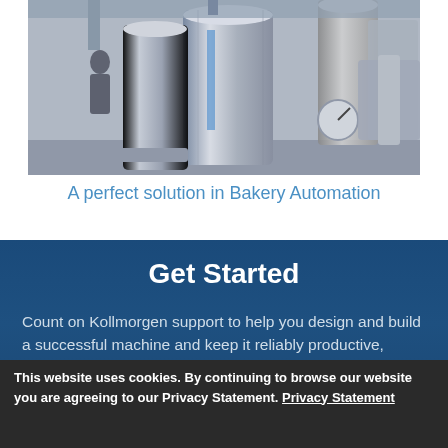[Figure (photo): Industrial bakery automation machinery — stainless steel cylinders, silos, and processing equipment in a factory setting with a person in the background]
A perfect solution in Bakery Automation
Get Started
Count on Kollmorgen support to help you design and build a successful machine and keep it reliably productive, anywhere in the world. Our co-engineering experts will work with you to tailor a perfect-fit solution for your motion
This website uses cookies. By continuing to browse our website you are agreeing to our Privacy Statement. Privacy Statement
Accept